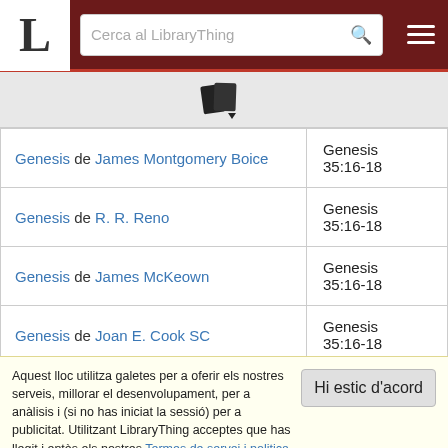LibraryThing - Cerca al LibraryThing
[Figure (other): Book/library icon with dropdown arrow]
| Book | Reference |
| --- | --- |
| Genesis de James Montgomery Boice | Genesis 35:16-18 |
| Genesis de R. R. Reno | Genesis 35:16-18 |
| Genesis de James McKeown | Genesis 35:16-18 |
| Genesis de Joan E. Cook SC | Genesis 35:16-18 |
Aquest lloc utilitza galetes per a oferir els nostres serveis, millorar el desenvolupament, per a anàlisis i (si no has iniciat la sessió) per a publicitat. Utilitzant LibraryThing acceptes que has llegit i entès els nostres Termes de servei i politica de privacitat. L'ús que facis del lloc i dels seus serveis està subjecte a aquestes politiques i termes.